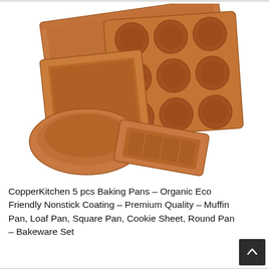[Figure (photo): Five copper-colored nonstick baking pans arranged overlapping each other: a large cookie sheet/baking sheet in the back, a 12-cup muffin pan, a square pan, a round cake pan, and a loaf pan in the front center.]
CopperKitchen 5 pcs Baking Pans – Organic Eco Friendly Nonstick Coating – Premium Quality – Muffin Pan, Loaf Pan, Square Pan, Cookie Sheet, Round Pan – Bakeware Set